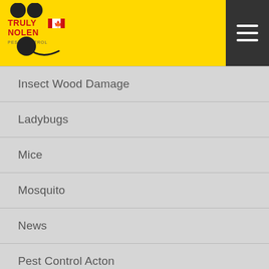[Figure (logo): Truly Nolen Pest Control logo with Canadian flag on yellow header background]
Insect Wood Damage
Ladybugs
Mice
Mosquito
News
Pest Control Acton
Pest Control Barrie
Pest Control Brampton
Pest Control Brant County